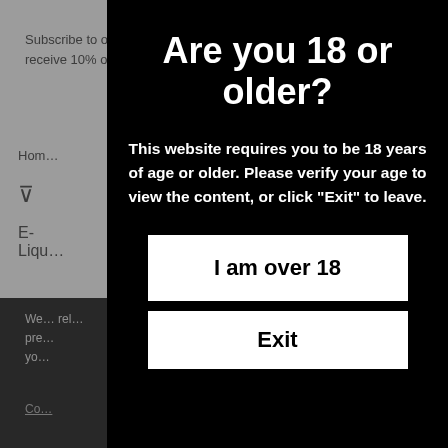Subscribe to our newsletter and receive 10% off your first ord…
Hom…
We… rel… pre… yo…
Co…
Are you 18 or older?
This website requires you to be 18 years of age or older. Please verify your age to view the content, or click "Exit" to leave.
I am over 18
Exit